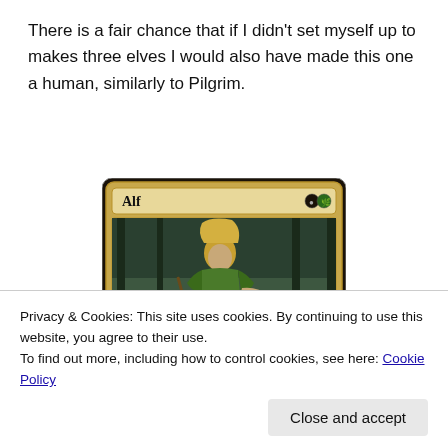There is a fair chance that if I didn't set myself up to makes three elves I would also have made this one a human, similarly to Pilgrim.
[Figure (illustration): A Magic: The Gathering card named 'Alf' with black and green mana symbols. The card art depicts a blond elf warrior in green armored attire standing in a forest, accompanied by a white wolf-like creature.]
Privacy & Cookies: This site uses cookies. By continuing to use this website, you agree to their use.
To find out more, including how to control cookies, see here: Cookie Policy